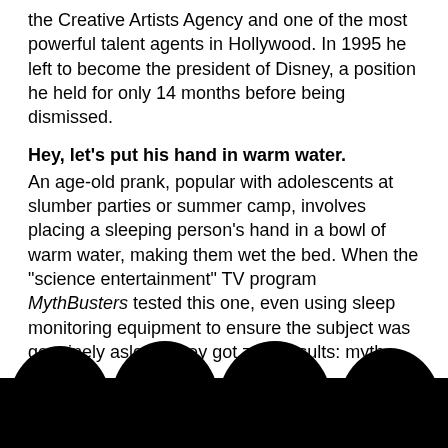the Creative Artists Agency and one of the most powerful talent agents in Hollywood. In 1995 he left to become the president of Disney, a position he held for only 14 months before being dismissed.
Hey, let's put his hand in warm water.
An age-old prank, popular with adolescents at slumber parties or summer camp, involves placing a sleeping person's hand in a bowl of warm water, making them wet the bed. When the "science entertainment" TV program MythBusters tested this one, even using sleep monitoring equipment to ensure the subject was genuinely asleep, they got zero results: myth busted!
Hey, you're Paul Frees!
Paul Frees (1920-1986) was a well-known voiceover actor who supplied the voices for, among many others, the Pillsbury Doughboy and Boris Badenov. Frees performed more than 3... in movies, TV shows, and...
[Figure (illustration): Silhouette of audience heads at bottom of page, black shapes against dark background]